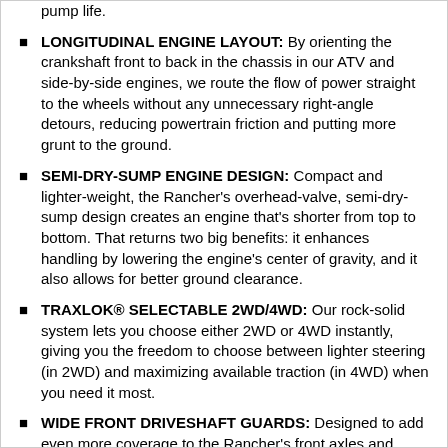pump life.
LONGITUDINAL ENGINE LAYOUT: By orienting the crankshaft front to back in the chassis in our ATV and side-by-side engines, we route the flow of power straight to the wheels without any unnecessary right-angle detours, reducing powertrain friction and putting more grunt to the ground.
SEMI-DRY-SUMP ENGINE DESIGN: Compact and lighter-weight, the Rancher's overhead-valve, semi-dry-sump design creates an engine that's shorter from top to bottom. That returns two big benefits: it enhances handling by lowering the engine's center of gravity, and it also allows for better ground clearance.
TRAXLOK® SELECTABLE 2WD/4WD: Our rock-solid system lets you choose either 2WD or 4WD instantly, giving you the freedom to choose between lighter steering (in 2WD) and maximizing available traction (in 4WD) when you need it most.
WIDE FRONT DRIVESHAFT GUARDS: Designed to add even more coverage to the Rancher's front axles and